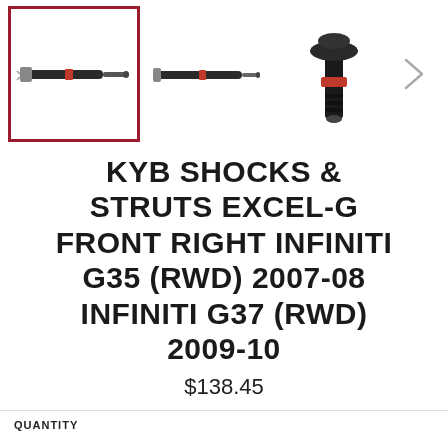[Figure (photo): Three thumbnail images of a KYB shock absorber/strut. The first image (selected, outlined in dark red/maroon) shows a full shock absorber laid horizontally. The second shows a similar shock absorber from a different angle. The third shows a close-up of the top mount/spring seat portion. A right chevron arrow button appears to the right of the thumbnails.]
KYB SHOCKS & STRUTS EXCEL-G FRONT RIGHT INFINITI G35 (RWD) 2007-08 INFINITI G37 (RWD) 2009-10
$138.45
QUANTITY